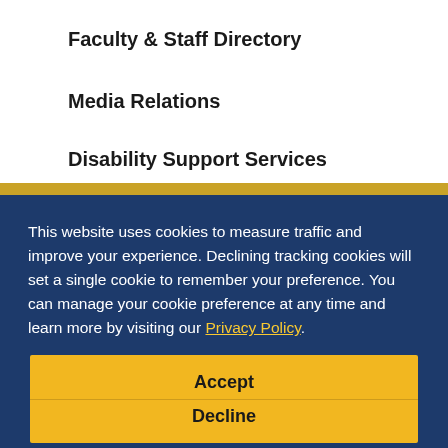Faculty & Staff Directory
Media Relations
Disability Support Services
This website uses cookies to measure traffic and improve your experience. Declining tracking cookies will set a single cookie to remember your preference. You can manage your cookie preference at any time and learn more by visiting our Privacy Policy.
Accept
Decline